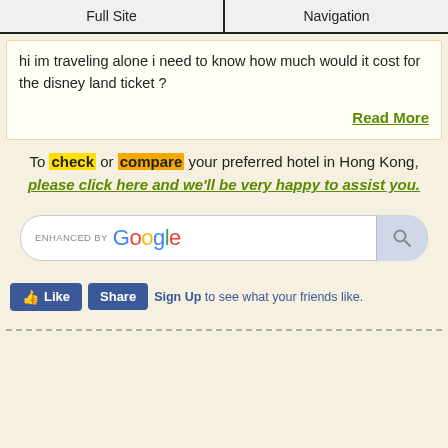Full Site | Navigation
hi im traveling alone i need to know how much would it cost for the disney land ticket ?
Read More
To check or compare your preferred hotel in Hong Kong, please click here and we'll be very happy to assist you.
[Figure (screenshot): Enhanced by Google search bar with search button]
[Figure (screenshot): Facebook Like and Share buttons with Sign Up text]